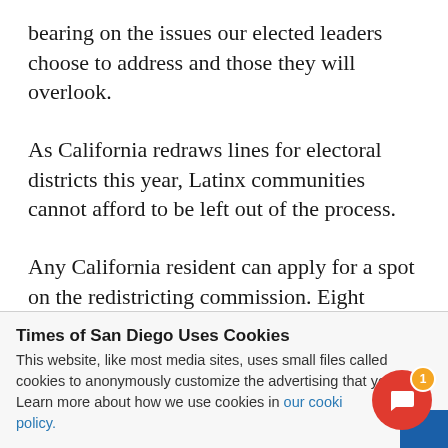bearing on the issues our elected leaders choose to address and those they will overlook.
As California redraws lines for electoral districts this year, Latinx communities cannot afford to be left out of the process.
Any California resident can apply for a spot on the redistricting commission. Eight commissioners are
Times of San Diego Uses Cookies
This website, like most media sites, uses small files called cookies to anonymously customize the advertising that you see. Learn more about how we use cookies in our cookie policy.